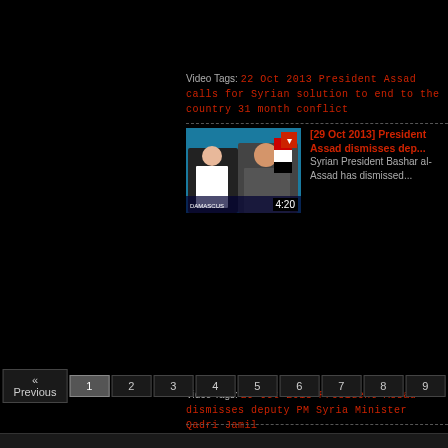Video Tags: 22 Oct 2013 President Assad calls for Syrian solution to end to the country 31 month conflict
[Figure (screenshot): Video thumbnail showing two men, one in white shirt and one in suit, appears to be a news broadcast with duration 4:20 and a red bookmark icon]
[29 Oct 2013] President Assad dismisses dep...
Syrian President Bashar al-Assad has dismissed...
Video Tags: 29 Oct 2013 President Assad dismisses deputy PM Syria Minister Qadri Jamil
« Previous  1  2  3  4  5  6  7  8  9